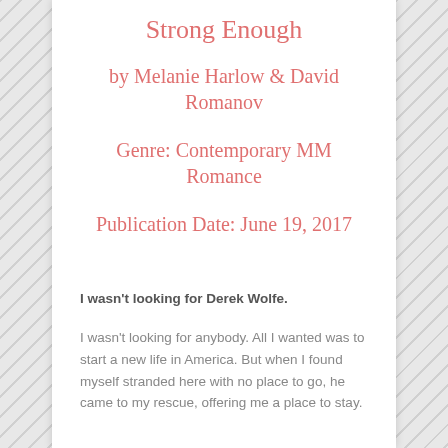Strong Enough
by Melanie Harlow & David Romanov
Genre: Contemporary MM Romance
Publication Date: June 19, 2017
I wasn't looking for Derek Wolfe.
I wasn't looking for anybody. All I wanted was to start a new life in America. But when I found myself stranded here with no place to go, he came to my rescue, offering me a place to stay.